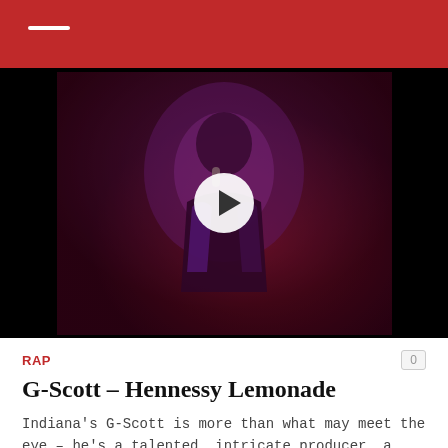[Figure (photo): A person performing/singing on stage under purple and red stage lighting, holding a microphone. A circular play button overlay is centered on the image, indicating a video thumbnail.]
RAP
G-Scott – Hennessy Lemonade
Indiana's G-Scott is more than what may meet the eye – he's a talented, intricate producer, a skillful, emotion-striking songwriter, and a